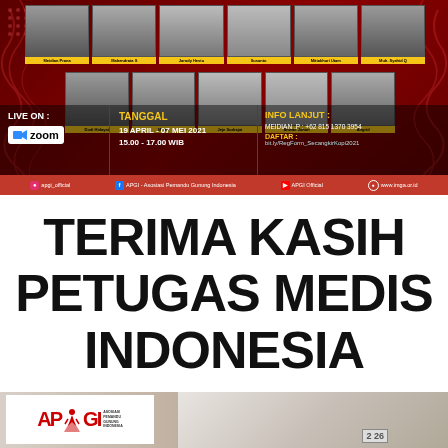[Figure (infographic): APGI (Asosiasi Pemandu Gunung Indonesia) event banner on dark red background. Shows two rows of participant photos with name labels in yellow. Bottom info bar shows: LIVE ON Zoom, TANGGAL 19 APRIL - 07 MEI 2021 / 15.00 - 17.00 WIB, INFO LANJUT: MEIDIAN.P +62 815 1370 3954, DAFTAR: bit.ly/RegForm_SecangkirKopi2021. Social bar with apgi_official (Instagram), APGI - Asosiasi Pemandu Gunung Indonesia (Facebook), APGI Official (YouTube), www.imga.or.id. First row participants: Meidian Prana, Mahendrata S, Jarody Hestu, Susanto, Mittakhuri Utam, Muh. Syahid Q. Second row: Dodi Hidayat, Mizell, Jeje Sudrajat, Ahwan Johari, Angrid.]
TERIMA KASIH PETUGAS MEDIS INDONESIA
[Figure (photo): Bottom photo showing APGI logo (white box with red APGI text and mountain guide figure) on left, and medical workers in PPE (white protective suit, goggles) on right with a box labeled '2 26' visible.]